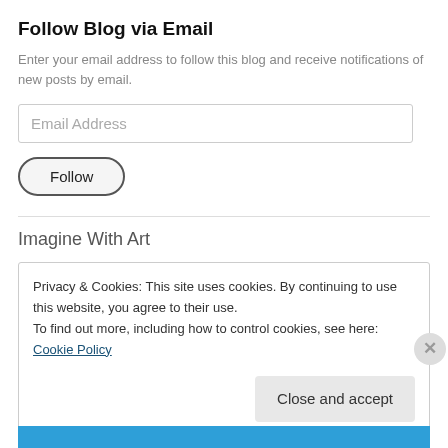Follow Blog via Email
Enter your email address to follow this blog and receive notifications of new posts by email.
Email Address
Follow
Imagine With Art
Privacy & Cookies: This site uses cookies. By continuing to use this website, you agree to their use.
To find out more, including how to control cookies, see here: Cookie Policy
Close and accept